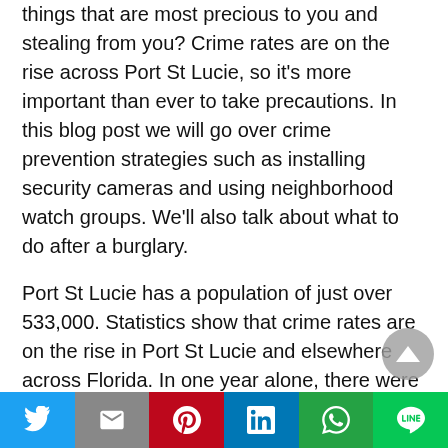things that are most precious to you and stealing from you? Crime rates are on the rise across Port St Lucie, so it's more important than ever to take precautions. In this blog post we will go over crime prevention strategies such as installing security cameras and using neighborhood watch groups. We'll also talk about what to do after a burglary.
Port St Lucie has a population of just over 533,000. Statistics show that crime rates are on the rise in Port St Lucie and elsewhere across Florida. In one year alone, there were 182 burglaries reported to police here in Port Saint Lucie. Breaking into a home is traumatic for not
Social share bar: Twitter, Gmail, Pinterest, LinkedIn, WhatsApp, Line